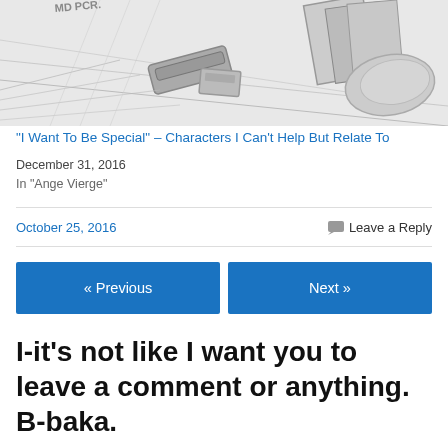[Figure (illustration): Black and white manga/comic style illustration showing desk items including books, a staple remover, and other office objects]
“I Want To Be Special” – Characters I Can’t Help But Relate To
December 31, 2016
In "Ange Vierge"
October 25, 2016
Leave a Reply
« Previous
Next »
I-it's not like I want you to leave a comment or anything. B-baka.